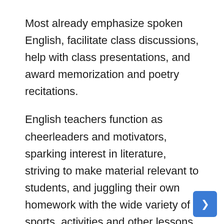Most already emphasize spoken English, facilitate class discussions, help with class presentations, and award memorization and poetry recitations.
English teachers function as cheerleaders and motivators, sparking interest in literature, striving to make material relevant to students, and juggling their own homework with the wide variety of sports, activities and other lessons in which students participate.
Good teachers maintain communication and connections with students and their parents. They function as amateur psychologists, knowing when to speak with parents and counselors, and reporting suspected cases of abuse or neglect.